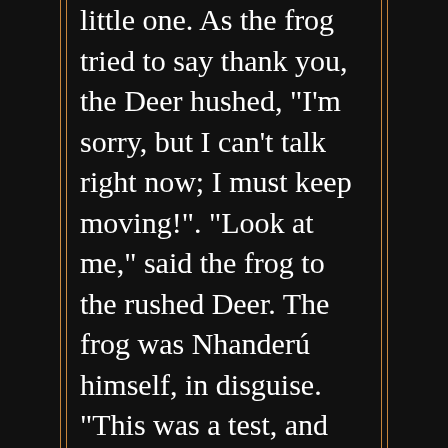little one. As the frog tried to say thank you, the Deer hushed, "I'm sorry, but I can't talk right now; I must keep moving!". "Look at me," said the frog to the rushed Deer. The frog was Nhanderú himself, in disguise. "This was a test, and you passed. Come with me to the sky". Since then, the Deer constellation has become a symbol of solidarity and